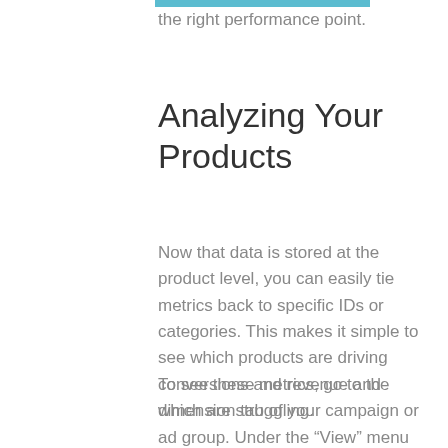the right performance point.
Analyzing Your Products
Now that data is stored at the product level, you can easily tie metrics back to specific IDs or categories. This makes it simple to see which products are driving conversions and revenue and which are struggling.
To see these metrics, go to the dimension tab of your campaign or ad group. Under the “View” menu you’ll